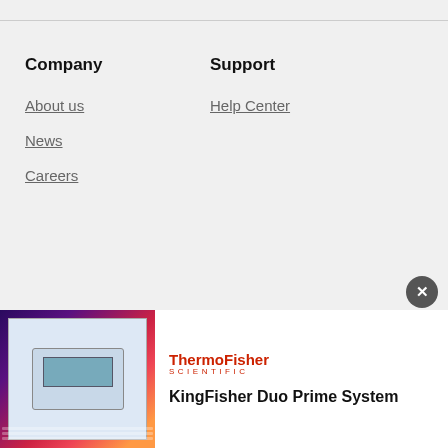Company
About us
News
Careers
Support
Help Center
Business solutions
Advertisement
Advertising
[Figure (illustration): ThermoFisher Scientific advertisement banner showing KingFisher Duo Prime System instrument with colorful background]
KingFisher Duo Prime System